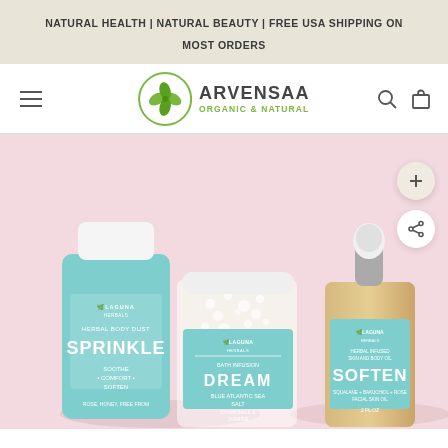NATURAL HEALTH | NATURAL BEAUTY | FREE USA SHIPPING ON MOST ORDERS
[Figure (logo): Arvensaa Organic & Natural logo with four-leaf clover emblem in green circle]
[Figure (photo): Three Laguna Herbals products on pink background: Sprinkle herbal body dust, Dream bath infusion with blue atlantic sea salt, and Soften herbal infused skin and body oil, with plus and share buttons on the right side]